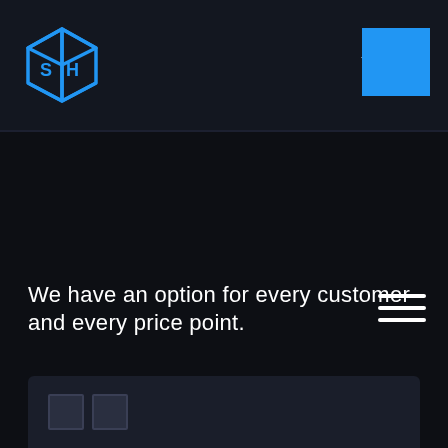[Figure (logo): 3D cube logo with 'SH' letters in blue, outlined style]
[Figure (other): Small downward-pointing triangle dropdown indicator]
[Figure (other): Solid blue square button in top right of navbar]
[Figure (other): Hamburger menu icon (three horizontal white lines) in upper right of content area]
We have an option for every customer and every price point.
[Figure (other): Dark card panel at bottom with two small placeholder icon squares]